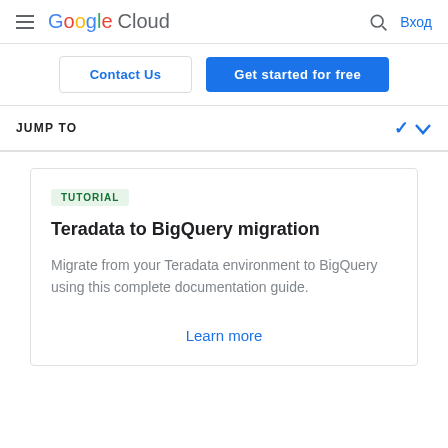Google Cloud — Вход
Contact Us
Get started for free
JUMP TO
TUTORIAL
Teradata to BigQuery migration
Migrate from your Teradata environment to BigQuery using this complete documentation guide.
Learn more